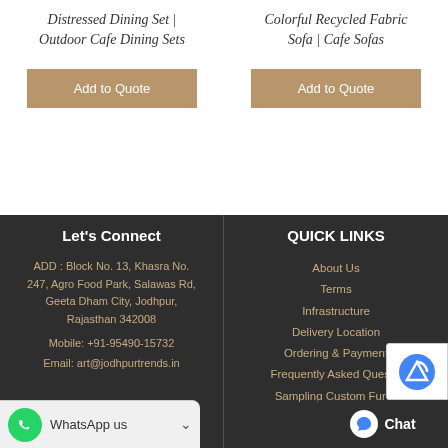Distressed Dining Set | Outdoor Cafe Dining Sets
Colorful Recycled Fabric Sofa | Cafe Sofas
Add to Quote
Add to Quote
Let's Connect
QUICK LINKS
ADD : Block No. 13, Khasra No. 247, Agro Food Park, Salawas Rd, Geeta Dham City, Jodhpur, Rajasthan 342008
Mobile: +91-95490-15732
Email: art@jodhpurtrends.in
About Us
Terms
Infrastructure
Delivery Location
Ordering & Payment
Frequently Asked Ques...
Sampling Custom Fur...
WhatsApp us
Chat